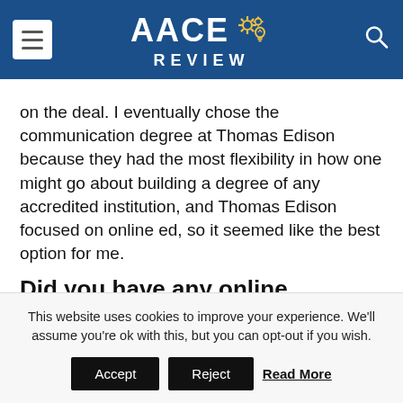AACE REVIEW
on the deal. I eventually chose the communication degree at Thomas Edison because they had the most flexibility in how one might go about building a degree of any accredited institution, and Thomas Edison focused on online ed, so it seemed like the best option for me.
Did you have any online learning experience before your undergrad or was this your first?
Before joining with College Plus, Thomas Edison d…
This website uses cookies to improve your experience. We'll assume you're ok with this, but you can opt-out if you wish. Accept Reject Read More